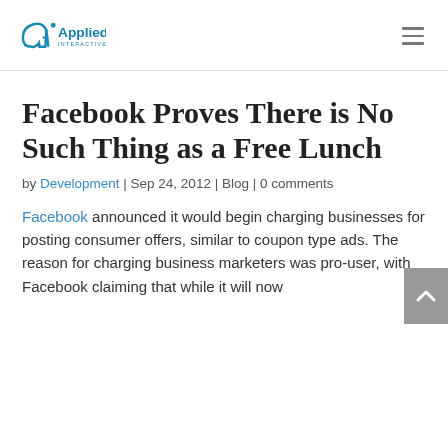Applied Interactive
Facebook Proves There is No Such Thing as a Free Lunch
by Development | Sep 24, 2012 | Blog | 0 comments
Facebook announced it would begin charging businesses for posting consumer offers, similar to coupon type ads. The reason for charging business marketers was pro-user, with Facebook claiming that while it will now